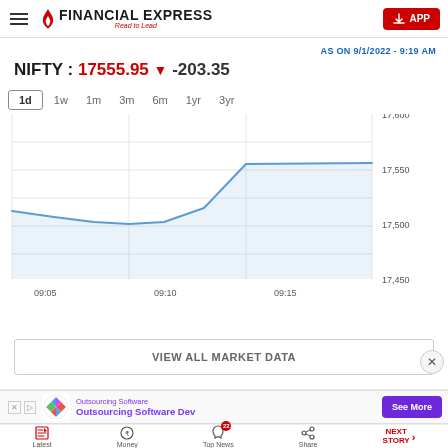FINANCIAL EXPRESS - Read to Lead | APP
AS ON 9/1/2022 - 9:19 AM
NIFTY : 17555.95 ▼ -203.35
1d | 1w | 1m | 3m | 6m | 1yr | 3yr
[Figure (line-chart): NIFTY intraday chart]
VIEW ALL MARKET DATA
Outsourcing Software | Outsourcing Software Dev | See More
Latest | Money | Top News 22 | Share | NEXT STORY